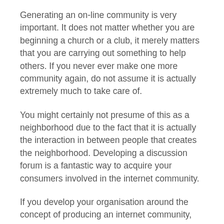Generating an on-line community is very important. It does not matter whether you are beginning a church or a club, it merely matters that you are carrying out something to help others. If you never ever make one more community again, do not assume it is actually extremely much to take care of.
You might certainly not presume of this as a neighborhood due to the fact that it is actually the interaction in between people that creates the neighborhood. Developing a discussion forum is a fantastic way to acquire your consumers involved in the internet community.
If you develop your organisation around the concept of producing an internet community, you will certainly certainly never run out of brand-new customers. Developing an on the web area is actually an excellent method to acquire your information out to millions of people.